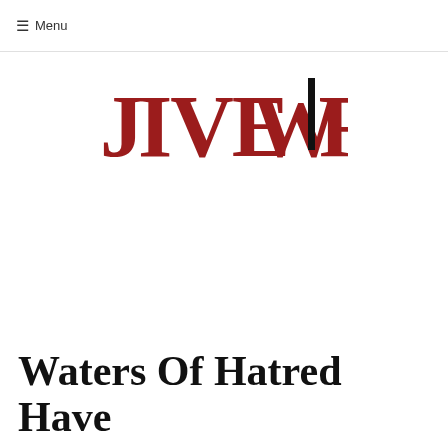≡ Menu
[Figure (logo): JiveWire logo in decorative Art Deco style font with dark red/crimson lettering and a black vertical bar accent on the letter i]
Waters Of Hatred Have